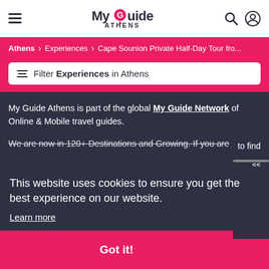My Guide Athens — navigation header with hamburger menu, logo, search and user icons
Athens > Experiences > Cape Sounion Private Half-Day Tour fro...
Filter Experiences in Athens
My Guide Athens is part of the global My Guide Network of Online & Mobile travel guides.
We are now in 120+ Destinations and Growing. If you are
This website uses cookies to ensure you get the best experience on our website.
Learn more
Got it!